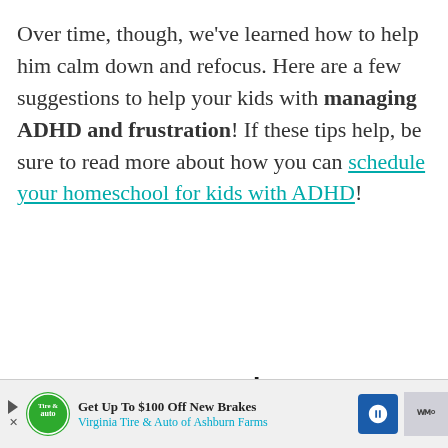Over time, though, we've learned how to help him calm down and refocus. Here are a few suggestions to help your kids with managing ADHD and frustration! If these tips help, be sure to read more about how you can schedule your homeschool for kids with ADHD!
How to Calm Your Frustrated ADHD Learner
[Figure (other): Advertisement banner: Get Up To $100 Off New Brakes - Virginia Tire & Auto of Ashburn Farms]